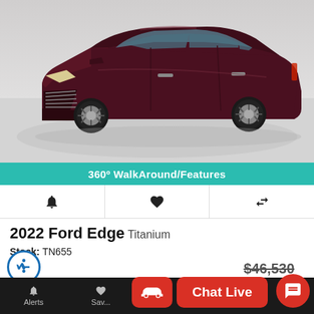[Figure (photo): Dark maroon/burgundy 2022 Ford Edge Titanium SUV photographed from front-left angle in a showroom with light grey floor]
360º WalkAround/Features
[Figure (infographic): Three icon row: bell (alerts), heart (save), and compare arrows icon]
2022 Ford Edge Titanium
Stock: TN655
MSRP: $46,530
[Figure (infographic): Accessibility icon - blue circle with person figure]
Alerts  Sav...  Chat Live